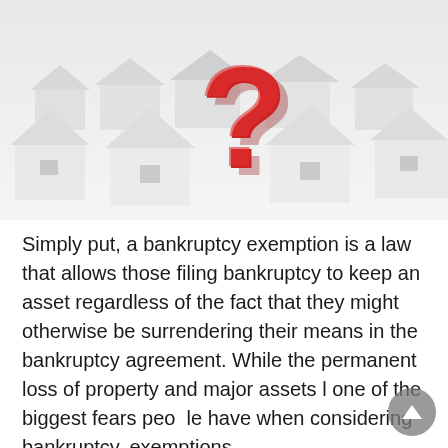[Figure (illustration): 3D render of white geometric house shapes arranged in rows with a large red question mark in the center foreground, on a white/light grey background.]
Simply put, a bankruptcy exemption is a law that allows those filing bankruptcy to keep an asset regardless of the fact that they might otherwise be surrendering their means in the bankruptcy agreement. While the permanent loss of property and major assets l one of the biggest fears people have when considering bankruptcy, exemptions